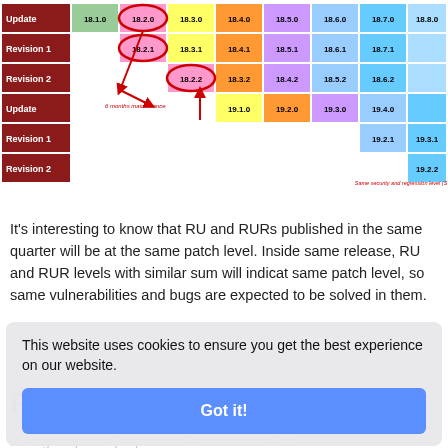[Figure (table-as-image): Version matrix table showing Oracle database release update and revision schedule. Rows: Update, Revision 1, Revision 2, Update, Revision 1, Revision 2. Columns: 18.1.0 through 18.8.0 and 19.x.x series. Color-coded cells with red oval annotations and arrows showing version relationships. Note: '6 months maintenance' and 'Same security and regression level (S ≤ 4+1 ≤ 1+2)'.]
It's interesting to know that RU and RURs published in the same quarter will be at the same patch level. Inside same release, RU and RUR levels with similar sum will indicat same patch level, so same vulnerabilities and bugs are expected to be solved in them.
First impressions
This website uses cookies to ensure you get the best experience on our website.
Fewer changes to apply (smaller lift: you get a RU only with more managed updates). Up to two Revisions for a RU.